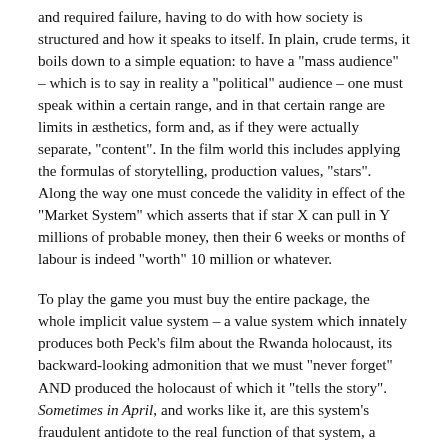and required failure, having to do with how society is structured and how it speaks to itself. In plain, crude terms, it boils down to a simple equation: to have a "mass audience" – which is to say in reality a "political" audience – one must speak within a certain range, and in that certain range are limits in æsthetics, form and, as if they were actually separate, "content". In the film world this includes applying the formulas of storytelling, production values, "stars". Along the way one must concede the validity in effect of the "Market System" which asserts that if star X can pull in Y millions of probable money, then their 6 weeks or months of labour is indeed "worth" 10 million or whatever.
To play the game you must buy the entire package, the whole implicit value system – a value system which innately produces both Peck's film about the Rwanda holocaust, its backward-looking admonition that we must "never forget" AND produced the holocaust of which it "tells the story". Sometimes in April, and works like it, are this system's fraudulent antidote to the real function of that system, a lancing of the boils which the system manufactures like just another product.
In the face of such a circular system, I guess, reluctantly, I